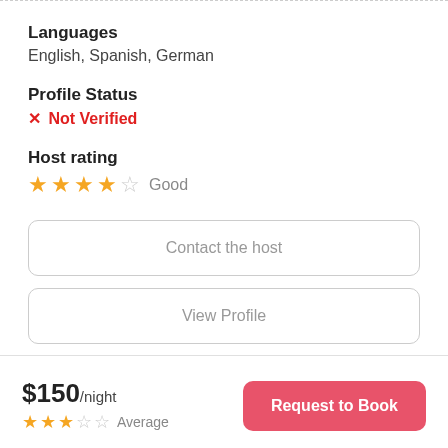Languages
English, Spanish, German
Profile Status
✗ Not Verified
Host rating
★★★★☆ Good
Contact the host
View Profile
$150/night ★★★☆☆ Average
Request to Book